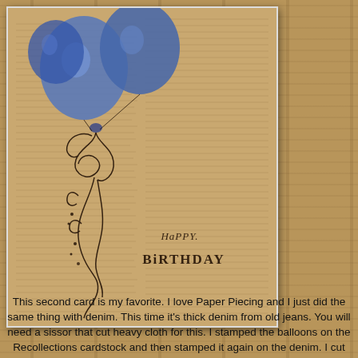[Figure (illustration): A birthday card showing blue denim balloons over aged book/dictionary page background, with decorative swirls and 'Happy Birthday' text stamped on the card.]
This second card is my favorite.  I love Paper Piecing and I just did the same thing with denim.  This time it's thick denim from old jeans. You will need a sissor that cut heavy cloth for this.  I stamped the balloons on the Recollections cardstock and then stamped it again on the denim.  I cut out the balloon parts and glued them right where they fit.  Tombo Mono glue works well here.  I am rethinking this last one.  It's not my favorite and I need to come up with another one that has the main image stamped. Also  after I finished it, I thought that "no one wants